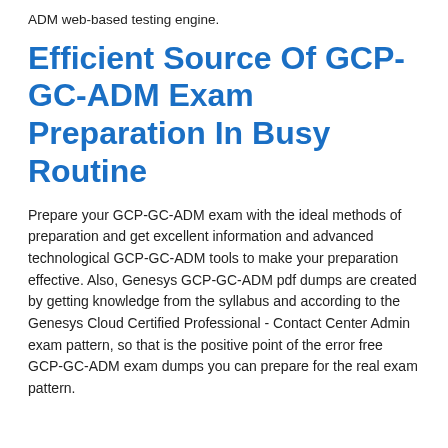ADM web-based testing engine.
Efficient Source Of GCP-GC-ADM Exam Preparation In Busy Routine
Prepare your GCP-GC-ADM exam with the ideal methods of preparation and get excellent information and advanced technological GCP-GC-ADM tools to make your preparation effective. Also, Genesys GCP-GC-ADM pdf dumps are created by getting knowledge from the syllabus and according to the Genesys Cloud Certified Professional - Contact Center Admin exam pattern, so that is the positive point of the error free GCP-GC-ADM exam dumps you can prepare for the real exam pattern.